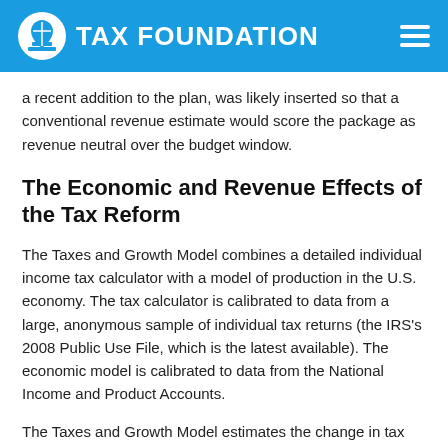TAX FOUNDATION
a recent addition to the plan, was likely inserted so that a conventional revenue estimate would score the package as revenue neutral over the budget window.
The Economic and Revenue Effects of the Tax Reform
The Taxes and Growth Model combines a detailed individual income tax calculator with a model of production in the U.S. economy. The tax calculator is calibrated to data from a large, anonymous sample of individual tax returns (the IRS's 2008 Public Use File, which is the latest available). The economic model is calibrated to data from the National Income and Product Accounts.
The Taxes and Growth Model estimates the change in tax